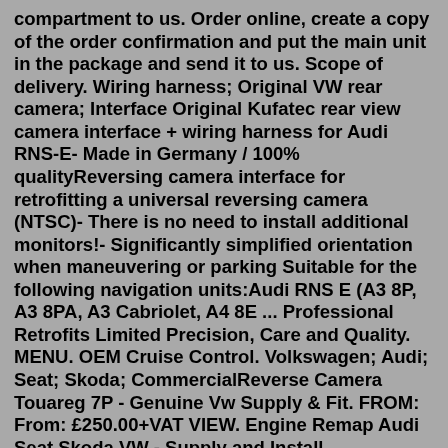compartment to us. Order online, create a copy of the order confirmation and put the main unit in the package and send it to us. Scope of delivery. Wiring harness; Original VW rear camera; Interface Original Kufatec rear view camera interface + wiring harness for Audi RNS-E- Made in Germany / 100% qualityReversing camera interface for retrofitting a universal reversing camera (NTSC)- There is no need to install additional monitors!- Significantly simplified orientation when maneuvering or parking Suitable for the following navigation units:Audi RNS E (A3 8P, A3 8PA, A3 Cabriolet, A4 8E ... Professional Retrofits Limited Precision, Care and Quality. MENU. OEM Cruise Control. Volkswagen; Audi; Seat; Skoda; CommercialReverse Camera Touareg 7P - Genuine Vw Supply & Fit. FROM: From: £250.00+VAT VIEW. Engine Remap Audi Seat Skoda VW - Supply and Install. ... Bluetooth Kit for RNS-850 (Vw MMi 3G) - Genuine Vw Supply & Fit. PRICE: £375.00 VIEW. MMi 3G & MMi 3G Maps Connection for VW and Volkswagen media S...